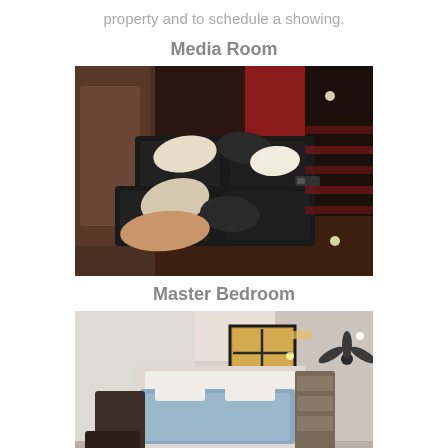property and to schedule a showing.
Media Room
[Figure (photo): Interior photo of a media room showing black leather recliner seats with decorative pillows in shades of cream, black, and pink, with dark red walls visible in the background.]
Master Bedroom
[Figure (photo): Interior photo of a master bedroom with white textured walls, a bed with a blue blanket, dark accent rugs/throws, a window with dark frame, shelving unit, and a ceiling fan visible on the right side.]